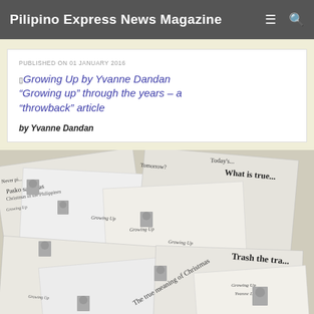Pilipino Express News Magazine
PUBLISHED ON 01 JANUARY 2016
"Growing up" through the years – a “throwback” article
by Yvanne Dandan
[Figure (photo): Collage of newspaper clippings all featuring 'Growing Up' columns by Yvanne Dandan, with headlines including 'The true meaning of Christmas', 'Trash the tra...', 'Remember those days...', 'flies fast...', 'Pasko sa Pinas Christmas in the Philippines', and 'IN THIS ISSUE'. Multiple small portrait photos of the author appear throughout.]